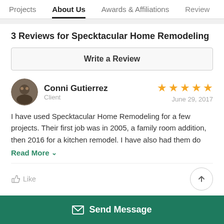Projects  About Us  Awards & Affiliations  Review
3 Reviews for Specktacular Home Remodeling
Write a Review
Conni Gutierrez
Client
June 29, 2017
★★★★★
I have used Specktacular Home Remodeling for a few projects. Their first job was in 2005, a family room addition, then 2016 for a kitchen remodel. I have also had them do
Read More ∨
Like
Send Message